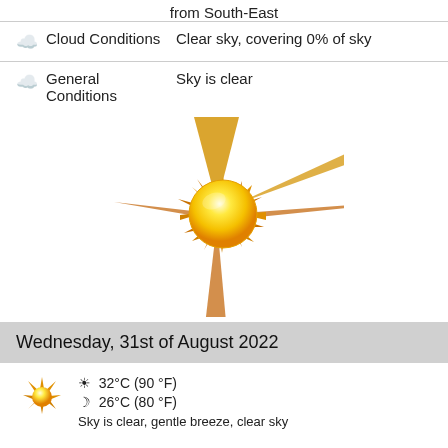from South-East
Cloud Conditions   Clear sky, covering 0% of sky
General Conditions   Sky is clear
[Figure (illustration): Large sun illustration with rays, yellow-orange gradient sun disc with multiple pointed rays extending outward]
Wednesday, 31st of August 2022
32°C (90 °F)
26°C (80 °F)
Sky is clear, gentle breeze, clear sky